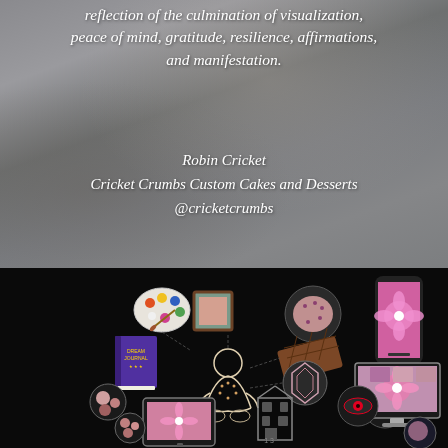reflection of the culmination of visualization, peace of mind, gratitude, resilience, affirmations, and manifestation.
Robin Cricket
Cricket Crumbs Custom Cakes and Desserts
@cricketcrumbs
[Figure (illustration): Black background illustration showing a meditating figure surrounded by various creative and digital items: a paint palette, a framed canvas, a decorated cake on a plate, a dream journal book, chocolate bar, a tablet, a phone showing pink flower art, a desktop monitor showing pink flower art and a cake, a small building/storefront icon, and circular decorative elements.]